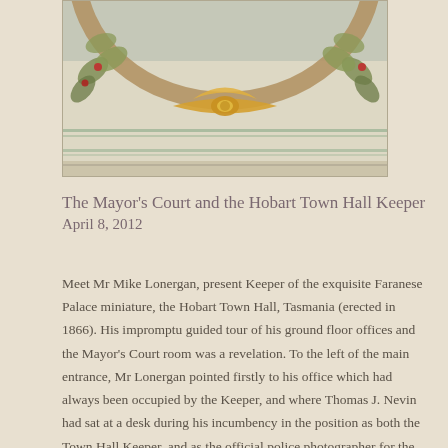[Figure (photo): Bottom portion of a decorative circular frame or medallion with a wreath of leaves and golden ribbon/bow, against a cream/beige wall with faint horizontal blue-green stripes near the bottom.]
The Mayor's Court and the Hobart Town Hall Keeper
April 8, 2012
Meet Mr Mike Lonergan, present Keeper of the exquisite Faranese Palace miniature, the Hobart Town Hall, Tasmania (erected in 1866). His impromptu guided tour of his ground floor offices and the Mayor's Court room was a revelation. To the left of the main entrance, Mr Lonergan pointed firstly to his office which had always been occupied by the Keeper, and where Thomas J. Nevin had sat at a desk during his incumbency in the position as both the Town Hall Keeper, and as the official police photographer for the Municipal Police Office, also housed in the